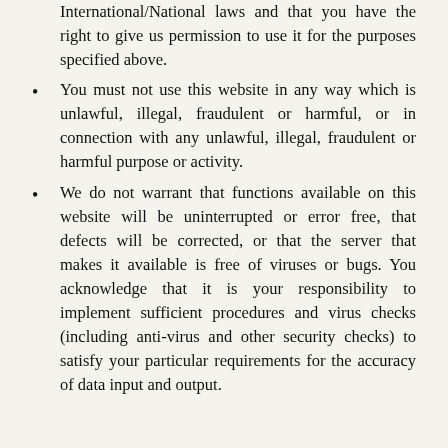International/National laws and that you have the right to give us permission to use it for the purposes specified above.
You must not use this website in any way which is unlawful, illegal, fraudulent or harmful, or in connection with any unlawful, illegal, fraudulent or harmful purpose or activity.
We do not warrant that functions available on this website will be uninterrupted or error free, that defects will be corrected, or that the server that makes it available is free of viruses or bugs. You acknowledge that it is your responsibility to implement sufficient procedures and virus checks (including anti-virus and other security checks) to satisfy your particular requirements for the accuracy of data input and output.